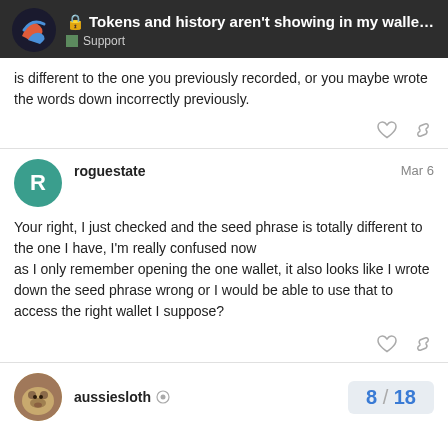Tokens and history aren't showing in my walle... | Support
is different to the one you previously recorded, or you maybe wrote the words down incorrectly previously.
roguestate — Mar 6
Your right, I just checked and the seed phrase is totally different to the one I have, I'm really confused now as I only remember opening the one wallet, it also looks like I wrote down the seed phrase wrong or I would be able to use that to access the right wallet I suppose?
aussiesloth — 8 / 18